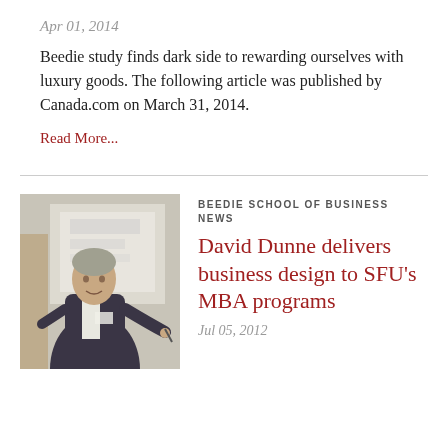Apr 01, 2014
Beedie study finds dark side to rewarding ourselves with luxury goods. The following article was published by Canada.com on March 31, 2014.
Read More...
[Figure (photo): Man speaking at a presentation, standing in front of a projected screen, wearing dark jacket over white shirt, holding a pen or marker]
BEEDIE SCHOOL OF BUSINESS NEWS
David Dunne delivers business design to SFU's MBA programs
Jul 05, 2012